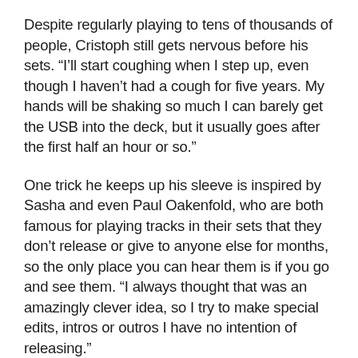Despite regularly playing to tens of thousands of people, Cristoph still gets nervous before his sets. “I’ll start coughing when I step up, even though I haven’t had a cough for five years. My hands will be shaking so much I can barely get the USB into the deck, but it usually goes after the first half an hour or so.”
One trick he keeps up his sleeve is inspired by Sasha and even Paul Oakenfold, who are both famous for playing tracks in their sets that they don’t release or give to anyone else for months, so the only place you can hear them is if you go and see them. “I always thought that was an amazingly clever idea, so I try to make special edits, intros or outros I have no intention of releasing.”